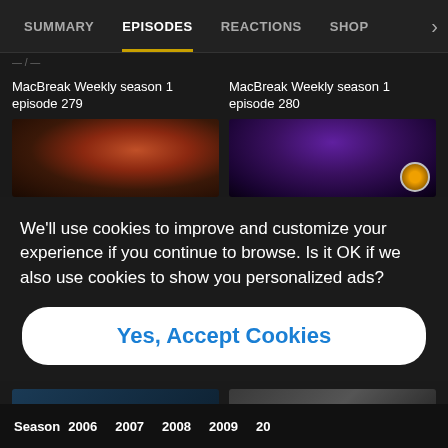SUMMARY  EPISODES  REACTIONS  SHOP
MacBreak Weekly season 1 episode 279
MacBreak Weekly season 1 episode 280
[Figure (screenshot): Thumbnail image for MacBreak Weekly episode 279 — dark nebula/space scene with red/orange glow]
[Figure (screenshot): Thumbnail image for MacBreak Weekly episode 280 — purple-lit room with circular logo emblem]
We'll use cookies to improve and customize your experience if you continue to browse. Is it OK if we also use cookies to show you personalized ads?
Yes, Accept Cookies
[Figure (screenshot): Partial thumbnail — bottom row left episode thumbnail]
[Figure (screenshot): Partial thumbnail — bottom row right episode thumbnail]
Season  2006  2007  2008  2009  20